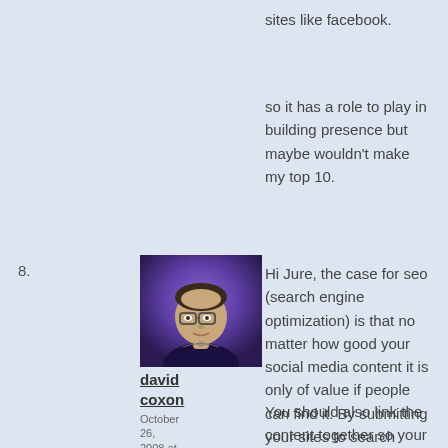sites like facebook.
so it has a role to play in building presence but maybe wouldn't make my top 10.
8.
[Figure (photo): Profile photo of david coxon — person with glasses against purple background]
david coxon
October 26, 2008 at 9:42 am
Hi Jure, the case for seo (search engine optimization) is that no matter how good your social media content it is only of value if people can find it. By submitting your sites to search engines you will increase the number of people that your presence will extend to.
You should also link the content together so your blog has links to your